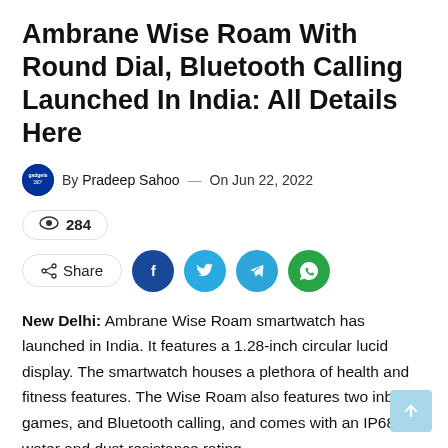Ambrane Wise Roam With Round Dial, Bluetooth Calling Launched In India: All Details Here
By Pradeep Sahoo — On Jun 22, 2022
284 views
Share
New Delhi: Ambrane Wise Roam smartwatch has launched in India. It features a 1.28-inch circular lucid display. The smartwatch houses a plethora of health and fitness features. The Wise Roam also features two inbuilt games, and Bluetooth calling, and comes with an IP68 water and dust resistance rating.
Ambrane Wise Roam price in India